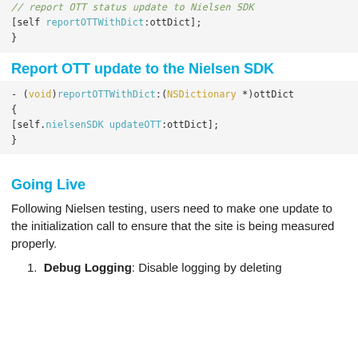[Figure (screenshot): Code block showing: // report OTT status update to Nielsen SDK comment, then [self reportOTTWithDict:ottDict]; and closing brace]
Report OTT update to the Nielsen SDK
[Figure (screenshot): Code block showing: - (void)reportOTTWithDict:(NSDictionary *)ottDict { [self.nielsenSDK updateOTT:ottDict]; }]
Going Live
Following Nielsen testing, users need to make one update to the initialization call to ensure that the site is being measured properly.
Debug Logging: Disable logging by deleting